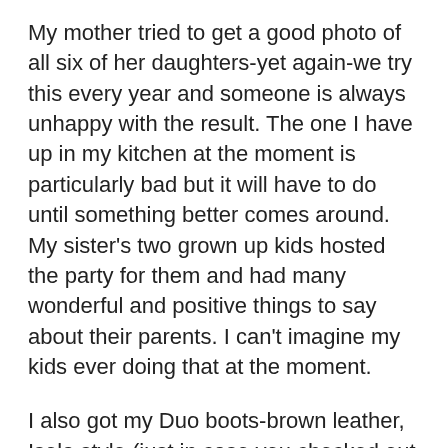My mother tried to get a good photo of all six of her daughters-yet again-we try this every year and someone is always unhappy with the result. The one I have up in my kitchen at the moment is particularly bad but it will have to do until something better comes around. My sister's two grown up kids hosted the party for them and had many wonderful and positive things to say about their parents. I can't imagine my kids ever doing that at the moment.
I also got my Duo boots-brown leather, Isola style (just in case you checked out their website). They actually fit me. it's a miracle. I love them already.
I held my first contest on the website this month to celebrate the release of the book.